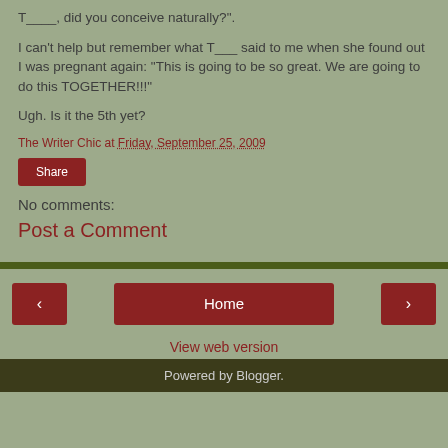T____, did you conceive naturally?".
I can't help but remember what T___ said to me when she found out I was pregnant again: "This is going to be so great.  We are going to do this TOGETHER!!!"
Ugh.  Is it the 5th yet?
The Writer Chic at Friday, September 25, 2009
Share
No comments:
Post a Comment
Home
View web version
Powered by Blogger.